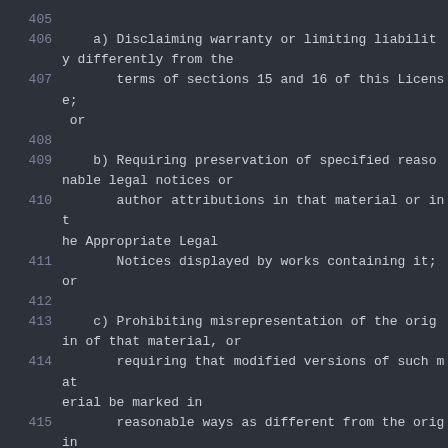405
406    a) Disclaiming warranty or limiting liability differently from the
407       terms of sections 15 and 16 of this License; or
408
409    b) Requiring preservation of specified reasonable legal notices or
410       author attributions in that material or in the Appropriate Legal
411       Notices displayed by works containing it; or
412
413    c) Prohibiting misrepresentation of the origin of that material, or
414       requiring that modified versions of such material be marked in
415       reasonable ways as different from the original version; or
416
417    d) Limiting the use for publicity purposes of names of licensors or
418       authors of the material; or